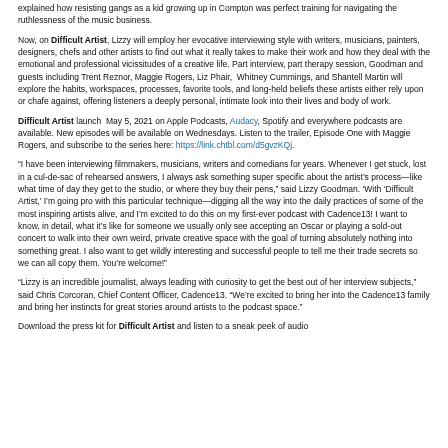explained how resisting gangs as a kid growing up in Compton was perfect training for navigating the ruthlessness of the music business.
Now, on Difficult Artist, Lizzy will employ her evocative interviewing style with writers, musicians, painters, designers, chefs and other artists to find out what it really takes to make their work and how they deal with the emotional and professional vicissitudes of a creative life. Part interview, part therapy session, Goodman and guests including Trent Reznor, Maggie Rogers, Liz Phair, Whitney Cummings, and Shantell Martin will explore the habits, workspaces, processes, favorite tools, and long-held beliefs these artists either rely upon or chafe against, offering listeners a deeply personal, intimate look into their lives and body of work.
Difficult Artist launch May 5, 2021 on Apple Podcasts, Audacy, Spotify and everywhere podcasts are available. New episodes will be available on Wednesdays. Listen to the trailer, Episode One with Maggie Rogers, and subscribe to the series here: https://link.chtbl.com/d5gvzKQj.
“I have been interviewing filmmakers, musicians, writers and comedians for years. Whenever I get stuck, lost in a cul-de-sac of rehearsed answers, I always ask something super specific about the artist’s process—like what time of day they get to the studio, or where they buy their pens,” said Lizzy Goodman. ‘With ‘Difficult Artist,’ I’m going pro with this particular technique—digging all the way into the daily practices of some of the most inspiring artists alive, and I’m excited to do this on my first-ever podcast with Cadence13! I want to know, in detail, what it’s like for someone we usually only see accepting an Oscar or playing a sold-out concert to walk into their own weird, private creative space with the goal of turning absolutely nothing into something great. I also want to get wildly interesting and successful people to tell me their trade secrets so we can all copy them. You’re welcome!”
“Lizzy is an incredible journalist, always leading with curiosity to get the best out of her interview subjects,” said Chris Corcoran, Chief Content Officer, Cadence13. “We’re excited to bring her into the Cadence13 family and bring her instincts for great stories around artists to the podcast space.”
Download the press kit for Difficult Artist and listen to a sneak peek of audio